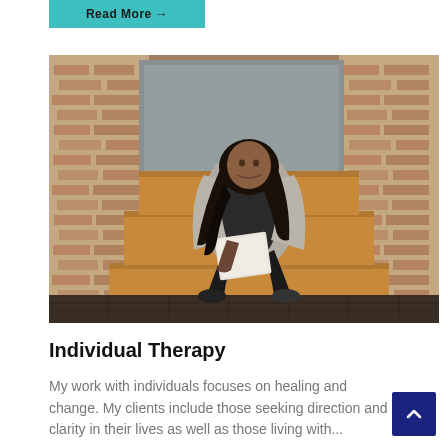Read More →
[Figure (photo): A woman with long dark hair sits on wooden steps against a brick wall backdrop with a large grey board. She wears a light grey cardigan over a black top and black pants, and is writing in a notebook or journal. The setting has an industrial, rustic feel with dark wooden floorboards.]
Individual Therapy
My work with individuals focuses on healing and change. My clients include those seeking direction and clarity in their lives as well as those living with...